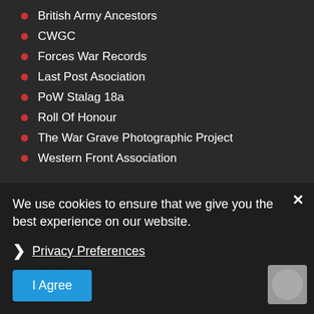British Army Ancestors
CWGC
Forces War Records
Last Post Asociation
PoW Stalag 18a
Roll Of Honour
The War Grave Photographic Project
Western Front Association
Research Links
Ancestry
Billion Graves
British Newspaper...
Family Search
Find My Past
The Genealogist
We use cookies to ensure that we give you the best experience on our website.
Privacy Preferences
I Agree